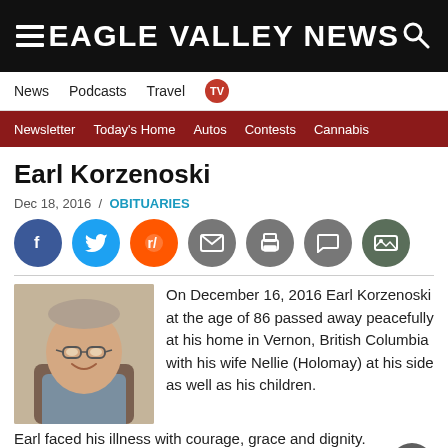EAGLE VALLEY NEWS
News  Podcasts  Travel  TV
Newsletter  Today's Home  Autos  Contests  Cannabis
Earl Korzenoski
Dec 18, 2016 / OBITUARIES
[Figure (other): Social media sharing icons: Facebook, Twitter, Reddit, Email, Print, Comment, Gallery]
[Figure (photo): Black and white photo of Earl Korzenoski, an elderly man smiling, wearing glasses and a collared shirt]
On December 16, 2016 Earl Korzenoski at the age of 86 passed away peacefully at his home in Vernon, British Columbia with his wife Nellie (Holomay) at his side as well as his children. Earl faced his illness with courage, grace and dignity.